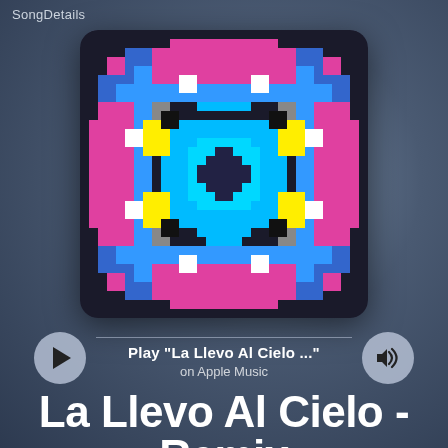SongDetails
[Figure (illustration): Pixel art album cover with colorful geometric/mandala-like pattern using cyan, pink/magenta, blue, yellow, white, black, and gray squares arranged symmetrically on a dark background.]
Play "La Llevo Al Cielo ..." on Apple Music
La Llevo Al Cielo - Remix